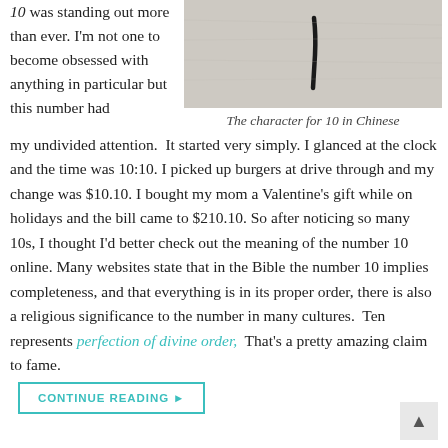10 was standing out more than ever. I'm not one to become obsessed with anything in particular but this number had
[Figure (photo): Close-up photo of fur or fabric with a dark mark resembling the Chinese character for 10]
The character for 10 in Chinese
my undivided attention.  It started very simply. I glanced at the clock and the time was 10:10. I picked up burgers at drive through and my change was $10.10. I bought my mom a Valentine's gift while on holidays and the bill came to $210.10. So after noticing so many 10s, I thought I'd better check out the meaning of the number 10 online. Many websites state that in the Bible the number 10 implies completeness, and that everything is in its proper order, there is also a religious significance to the number in many cultures. Ten represents perfection of divine order,  That's a pretty amazing claim to fame.
CONTINUE READING ▶